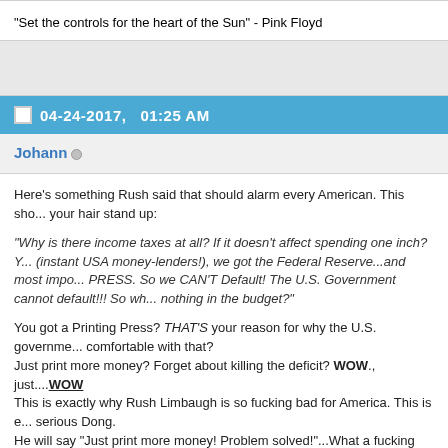"Set the controls for the heart of the Sun" - Pink Floyd
04-24-2017,   01:25 AM
Johann
Here's something Rush said that should alarm every American. This sho... your hair stand up:
"Why is there income taxes at all? If it doesn't affect spending one inch? Y... (instant USA money-lenders!), we got the Federal Reserve...and most impo... PRESS. So we CAN'T Default! The U.S. Government cannot default!!! So wh... nothing in the budget?"
You got a Printing Press? THAT'S your reason for why the U.S. governme... comfortable with that?
Just print more money? Forget about killing the deficit? WOW., just....WOW
This is exactly why Rush Limbaugh is so fucking bad for America. This is ... serious Dong.
He will say "Just print more money! Problem solved!"...What a fucking Bo...
And his listeners hear him say that and they parrot it, like the "dittohe...